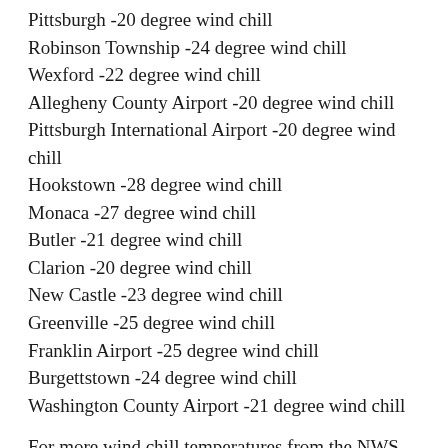Pittsburgh -20 degree wind chill
Robinson Township -24 degree wind chill
Wexford -22 degree wind chill
Allegheny County Airport -20 degree wind chill
Pittsburgh International Airport -20 degree wind chill
Hookstown -28 degree wind chill
Monaca -27 degree wind chill
Butler -21 degree wind chill
Clarion -20 degree wind chill
New Castle -23 degree wind chill
Greenville -25 degree wind chill
Franklin Airport -25 degree wind chill
Burgettstown -24 degree wind chill
Washington County Airport -21 degree wind chill
For more wind chill temperatures from the NWS,